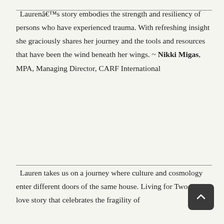Laurenâ€™s story embodies the strength and resiliency of persons who have experienced trauma. With refreshing insight she graciously shares her journey and the tools and resources that have been the wind beneath her wings. ~ Nikki Migas, MPA, Managing Director, CARF International
Lauren takes us on a journey where culture and cosmology enter different doors of the same house. Living for Two is a love story that celebrates the fragility of